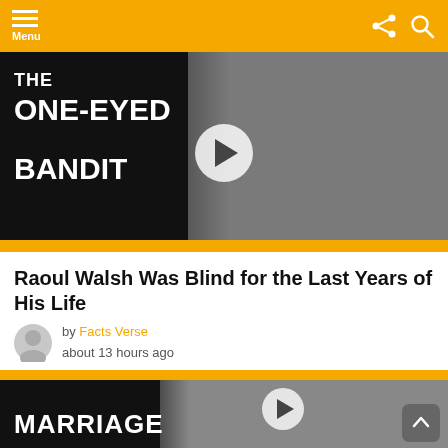Menu
[Figure (screenshot): Video thumbnail for 'The One-Eyed Bandit' showing black and white photo of a man in a suit with a play button overlay and yellow bottom bar]
Raoul Walsh Was Blind for the Last Years of His Life
by Facts Verse
about 13 hours ago
[Figure (screenshot): Video thumbnail for 'Marriage' showing black and white photo of a man and woman with a play button overlay and yellow top bar]